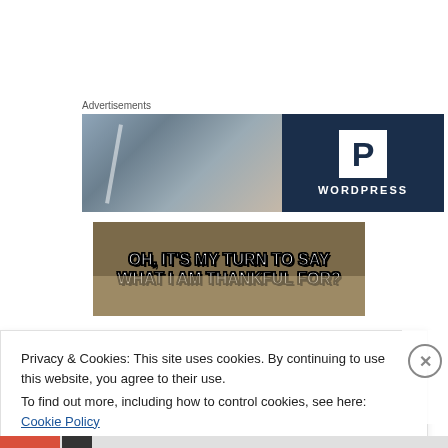Advertisements
[Figure (screenshot): WordPress advertisement banner with a blurred photo on the left showing a person, and a dark navy blue panel on the right with a white 'P' logo box and 'WORDPRESS' text below]
[Figure (photo): Meme image with text 'OH, IT'S MY TURN TO SAY WHAT I AM THANKFUL FOR?' in bold white letters with black outline on a brownish-tan background]
Privacy & Cookies: This site uses cookies. By continuing to use this website, you agree to their use.
To find out more, including how to control cookies, see here: Cookie Policy
Close and accept